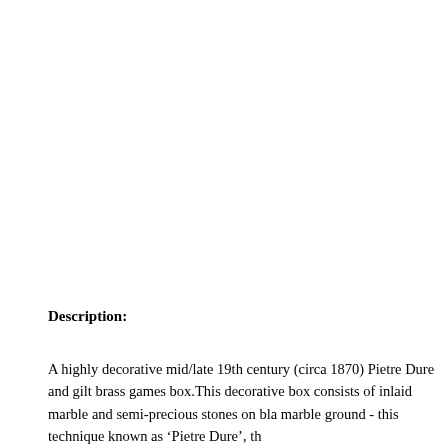Description:
A highly decorative mid/late 19th century (circa 1870) Pietre Dure and gilt brass games box.This decorative box consists of inlaid marble and semi-precious stones on bla marble ground - this technique known as ‘Pietre Dure’, th